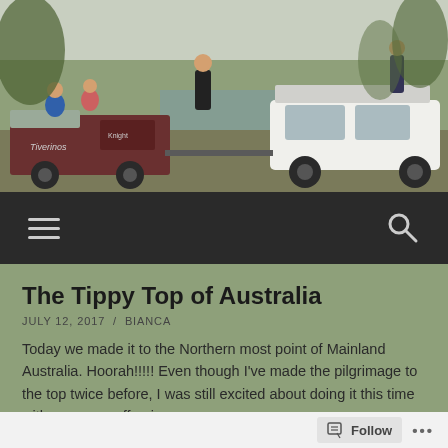[Figure (photo): Outdoor photo showing a white 4WD vehicle towing a trailer, with several people seated on and around the trailer/tow bar near a body of water with trees in the background. Overcast sky.]
≡  🔍
The Tippy Top of Australia
JULY 12, 2017  /  BIANCA
Today we made it to the Northern most point of Mainland Australia. Hoorah!!!!! Even though I've made the pilgrimage to the top twice before, I was still excited about doing it this time with my many offspring.
Follow  •••